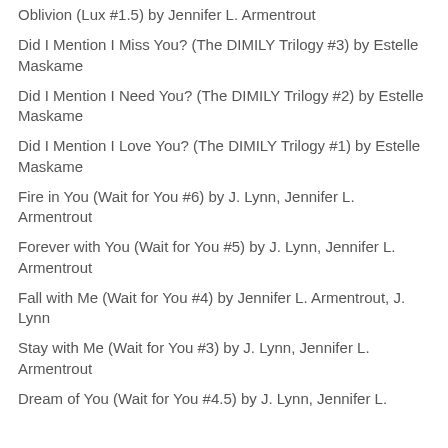Oblivion (Lux #1.5)  by  Jennifer L. Armentrout
Did I Mention I Miss You? (The DIMILY Trilogy #3)  by  Estelle Maskame
Did I Mention I Need You? (The DIMILY Trilogy #2)  by  Estelle Maskame
Did I Mention I Love You? (The DIMILY Trilogy #1)  by  Estelle Maskame
Fire in You (Wait for You #6)  by  J. Lynn, Jennifer L. Armentrout
Forever with You (Wait for You #5)  by  J. Lynn, Jennifer L. Armentrout
Fall with Me (Wait for You #4)  by  Jennifer L. Armentrout, J. Lynn
Stay with Me (Wait for You #3)  by  J. Lynn, Jennifer L. Armentrout
Dream of You (Wait for You #4.5)  by  J. Lynn, Jennifer L.